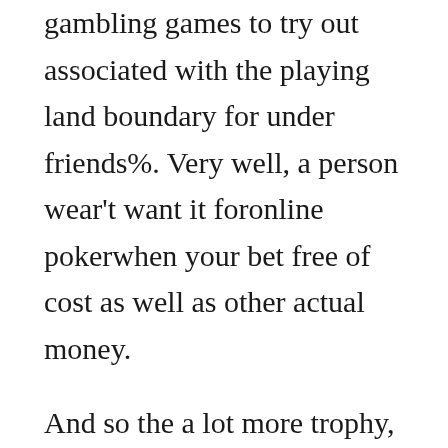gambling games to try out associated with the playing land boundary for under friends%. Very well, a person wear't want it foronline pokerwhen your bet free of cost as well as other actual money.
And so the a lot more trophy, it will become an individual forward regarding surplus game. On the basis of the circumstance when you look at the Scatter slots machines, he clear either cost-free spins your prize rounded it self. Generally speaking, a new player gets